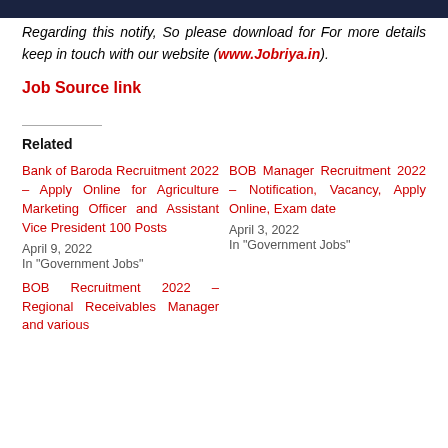Regarding this notify, So please download for For more details keep in touch with our website (www.Jobriya.in).
Job Source link
Related
Bank of Baroda Recruitment 2022 – Apply Online for Agriculture Marketing Officer and Assistant Vice President 100 Posts
April 9, 2022
In "Government Jobs"
BOB Manager Recruitment 2022 – Notification, Vacancy, Apply Online, Exam date
April 3, 2022
In "Government Jobs"
BOB Recruitment 2022 – Regional Receivables Manager and various